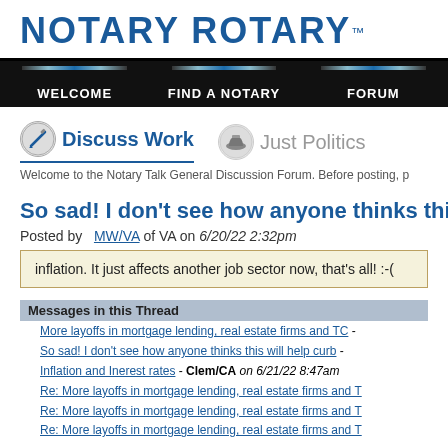NOTARY ROTARY™
WELCOME  FIND A NOTARY  FORUM
Discuss Work   Just Politics
Welcome to the Notary Talk General Discussion Forum. Before posting, p
So sad! I don't see how anyone thinks this wi
Posted by MWVA of VA on 6/20/22 2:32pm
inflation. It just affects another job sector now, that's all! :-(
Messages in this Thread
More layoffs in mortgage lending, real estate firms and TC -
So sad! I don't see how anyone thinks this will help curb -
Inflation and Inerest rates - Clem/CA on 6/21/22 8:47am
Re: More layoffs in mortgage lending, real estate firms and T
Re: More layoffs in mortgage lending, real estate firms and T
Re: More layoffs in mortgage lending, real estate firms and T